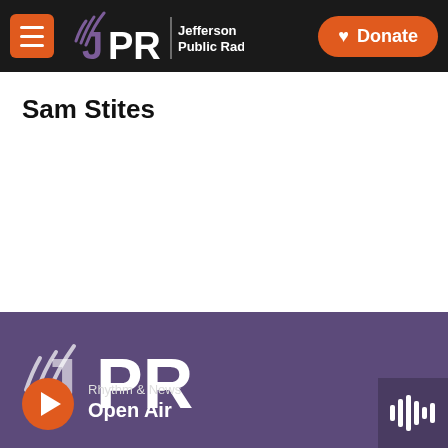JPR Jefferson Public Radio | Donate
Sam Stites
JPR | Rhythm & News | Open Air